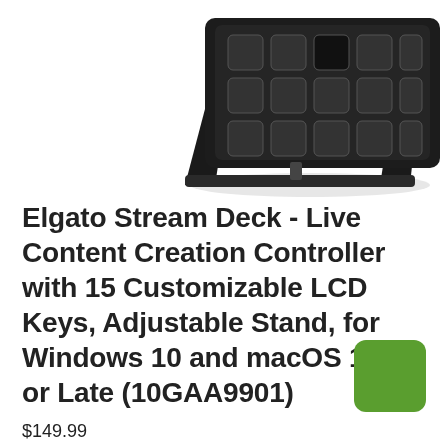[Figure (photo): Product photo of Elgato Stream Deck device, black controller with LCD keys on an adjustable stand, shown from an angled top-down perspective on white background]
Elgato Stream Deck - Live Content Creation Controller with 15 Customizable LCD Keys, Adjustable Stand, for Windows 10 and macOS 10.13 or Late (10GAA9901)
$149.99